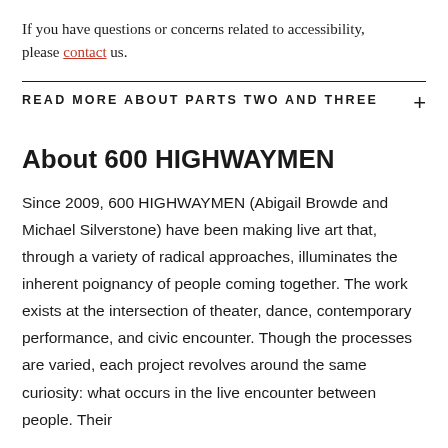If you have questions or concerns related to accessibility, please contact us.
READ MORE ABOUT PARTS TWO AND THREE
About 600 HIGHWAYMEN
Since 2009, 600 HIGHWAYMEN (Abigail Browde and Michael Silverstone) have been making live art that, through a variety of radical approaches, illuminates the inherent poignancy of people coming together. The work exists at the intersection of theater, dance, contemporary performance, and civic encounter. Though the processes are varied, each project revolves around the same curiosity: what occurs in the live encounter between people. Their